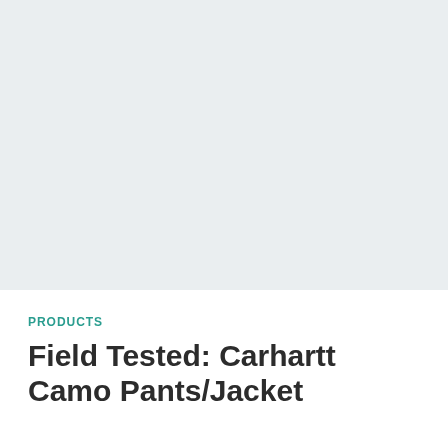[Figure (photo): Large light gray placeholder image area for a product photo]
PRODUCTS
Field Tested: Carhartt Camo Pants/Jacket